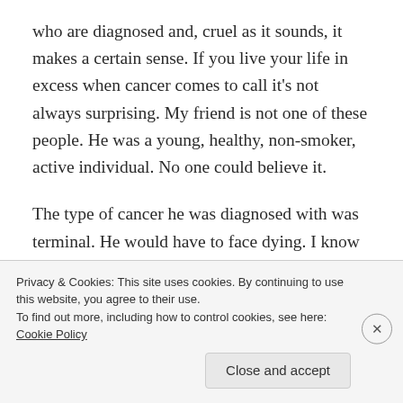who are diagnosed and, cruel as it sounds, it makes a certain sense. If you live your life in excess when cancer comes to call it's not always surprising. My friend is not one of these people. He was a young, healthy, non-smoker, active individual. No one could believe it.
The type of cancer he was diagnosed with was terminal. He would have to face dying. I know the world is filled with amazing people, and perhaps some of them would handle this news well, but none with the unique grace that my friend did. I know for certain he faced despair and under its weight he never gave in. He did the
Privacy & Cookies: This site uses cookies. By continuing to use this website, you agree to their use.
To find out more, including how to control cookies, see here: Cookie Policy
Close and accept